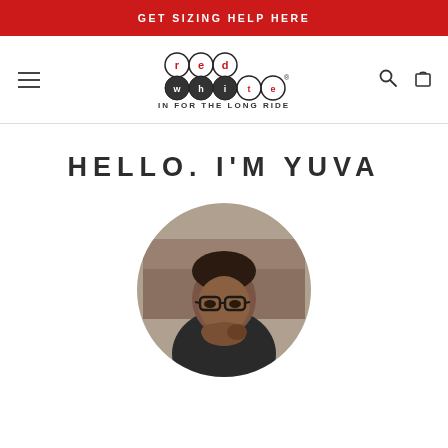GET SIZING HELP HERE
[Figure (logo): Red White brand logo with interconnected circles spelling 'red white' and tagline 'IN FOR THE LONG RIDE']
HELLO. I'M YUVA
[Figure (photo): Circular portrait photo of Yuva, a man wearing glasses and a dark shirt, with hands clasped, in a clothing store background]